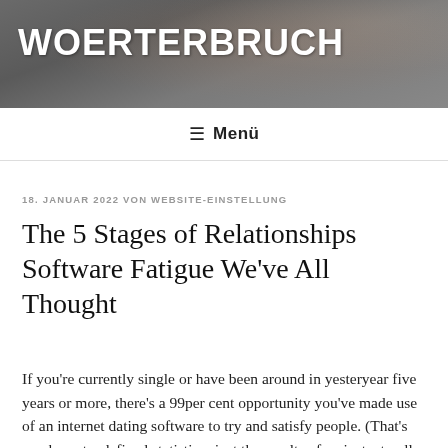[Figure (photo): Header banner photo showing rocky mountain/cliff scenery with person in red jacket, dark grey tones, with large white bold text 'WOERTERBRUCH' overlaid]
≡ Menü
18. JANUAR 2022 VON WEBSITE-EINSTELLUNG
The 5 Stages of Relationships Software Fatigue We've All Thought
If you're currently single or have been around in yesteryear five years or more, there's a 99per cent opportunity you've made use of an internet dating software to try and satisfy people. (That's maybe not a defined statistic—just the results of an instant poll